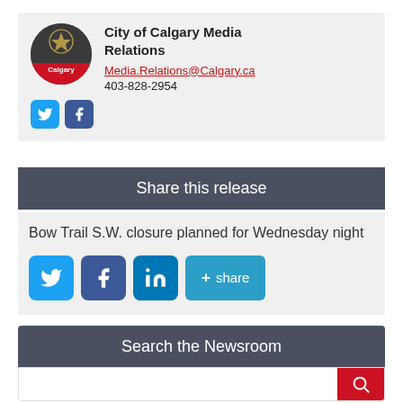City of Calgary Media Relations
Media.Relations@Calgary.ca
403-828-2954
Share this release
Bow Trail S.W. closure planned for Wednesday night
Search the Newsroom